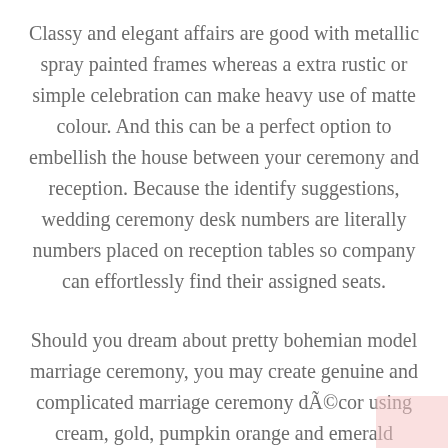Classy and elegant affairs are good with metallic spray painted frames whereas a extra rustic or simple celebration can make heavy use of matte colour. And this can be a perfect option to embellish the house between your ceremony and reception. Because the identify suggestions, wedding ceremony desk numbers are literally numbers placed on reception tables so company can effortlessly find their assigned seats.
Should you dream about pretty bohemian model marriage ceremony, you may create genuine and complicated marriage ceremony décor using cream, gold, pumpkin orange and emerald inexperienced nuances which will properly match with each other.
In case your nation themed wedding ceremony is going